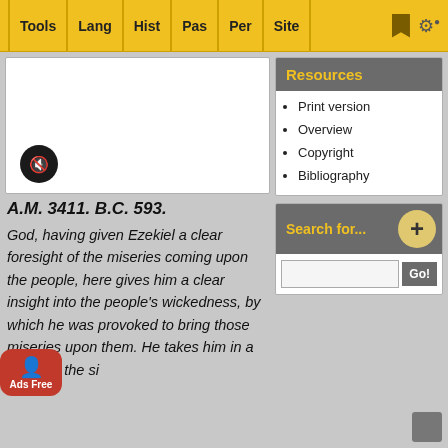Tools | Lang | Hist | Pas | Per | Site
[Figure (screenshot): White media player box with mute button]
Resources
Print version
Overview
Copyright
Bibliography
A.M. 3411. B.C. 593.
God, having given Ezekiel a clear foresight of the miseries coming upon the people, here gives him a clear insight into the people's wickedness, by which he was provoked to bring those miseries upon them. He takes him in a vision to the si
Search for...